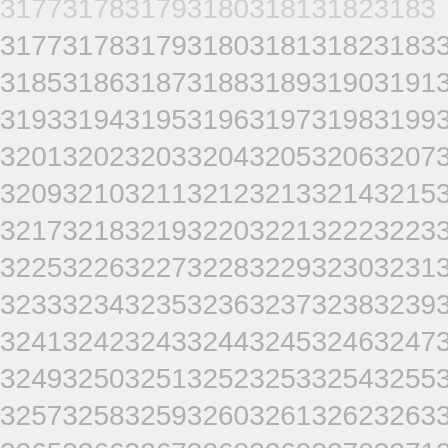3177317831793180318131823183 3184
31853186318731883189319031913192
31933194319531963197319831993200
32013202320332043205320632073208
32093210321132123213321432153216
32173218321932203221322232233224
32253226322732283229323032313232
32333234323532363237323832393240
32413242324332443245324632473248
32493250325132523253325432553256
32573258325932603261326232633264
32653266326732683269327032713272
32733274327532763277327832793280